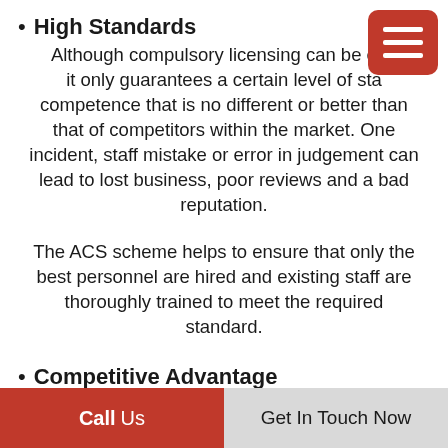High Standards
Although compulsory licensing can be effe it only guarantees a certain level of sta competence that is no different or better than that of competitors within the market. One incident, staff mistake or error in judgement can lead to lost business, poor reviews and a bad reputation.
The ACS scheme helps to ensure that only the best personnel are hired and existing staff are thoroughly trained to meet the required standard.
Competitive Advantage
Clients who require security services are increasingly looking for ACS certified providers
Call Us | Get In Touch Now